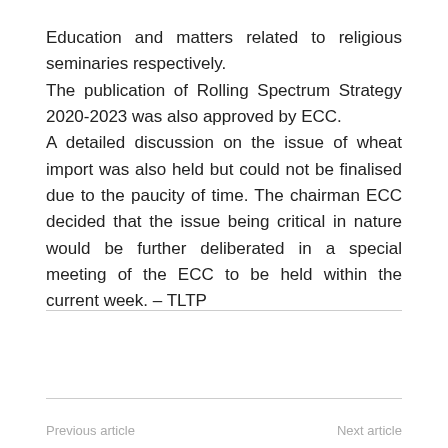Education and matters related to religious seminaries respectively.
The publication of Rolling Spectrum Strategy 2020-2023 was also approved by ECC.
A detailed discussion on the issue of wheat import was also held but could not be finalised due to the paucity of time. The chairman ECC decided that the issue being critical in nature would be further deliberated in a special meeting of the ECC to be held within the current week. – TLTP
Previous article    Next article